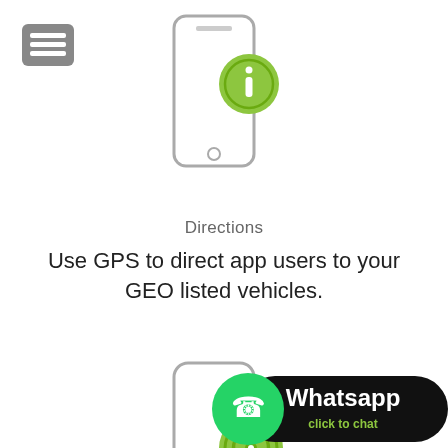[Figure (illustration): Hamburger menu icon (three horizontal lines) in a grey rounded square, top-left corner]
[Figure (illustration): Smartphone icon with a green info circle badge overlapping bottom-right, centered at top of page]
Directions
Use GPS to direct app users to your GEO listed vehicles.
[Figure (illustration): Smartphone icon with a green GPS/signal circle badge overlapping bottom-right, centered in lower portion of page]
One Touch
App users can get hold of your dealership with just
[Figure (logo): WhatsApp click to chat badge: green circle with white phone handset icon, black pill with 'Whatsapp' in white and 'click to chat' in green]